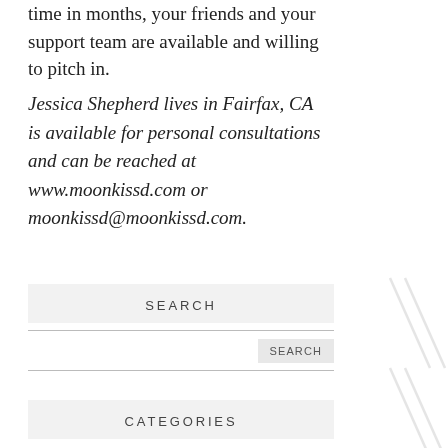time in months, your friends and your support team are available and willing to pitch in.
Jessica Shepherd lives in Fairfax, CA is available for personal consultations and can be reached at www.moonkissd.com or moonkissd@moonkissd.com.
SEARCH
CATEGORIES